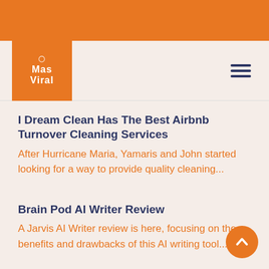[Figure (logo): Mas Viral logo: orange square with 'Mas Viral' text in white and a small circular icon above]
I Dream Clean Has The Best Airbnb Turnover Cleaning Services
After Hurricane Maria, Yamaris and John started looking for a way to provide quality cleaning...
Brain Pod AI Writer Review
A Jarvis AI Writer review is here, focusing on the benefits and drawbacks of this AI writing tool....